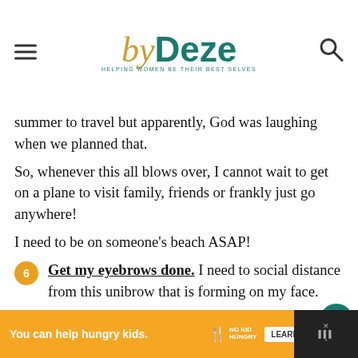byDeze — HELPING WOMEN BE THEIR BEST SELVES
summer to travel but apparently, God was laughing when we planned that.
So, whenever this all blows over, I cannot wait to get on a plane to visit family, friends or frankly just go anywhere!
I need to be on someone's beach ASAP!
6. Get my eyebrows done. I need to social distance from this unibrow that is forming on my face.
7. Stand in a large crowd for absolutely no
Ad: You can help hungry kids. NO KID HUNGRY — LEARN HOW